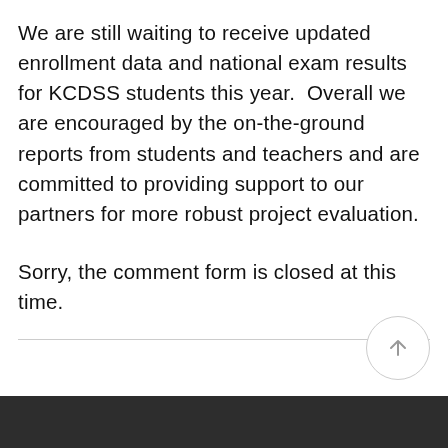We are still waiting to receive updated enrollment data and national exam results for KCDSS students this year.  Overall we are encouraged by the on-the-ground reports from students and teachers and are committed to providing support to our partners for more robust project evaluation.
Sorry, the comment form is closed at this time.